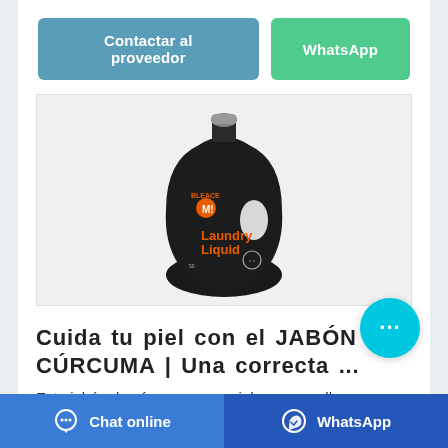[Figure (other): Two action buttons: 'Contactar al proveedor' (blue-gray) and 'WhatsApp' (green), displayed as rounded rectangles in a row.]
[Figure (photo): Black laundry detergent bottle labeled 'Laundry Liquid' with orange text and Mickey Mouse logo, photographed on a light background.]
Cuida tu piel con el JABÓN DE CÚRCUMA | Una correcta ...
Este jabón de cúrcuma es genial para aquellas personas que no puedan usar geles de hipermercado o personas
[Figure (other): Floating cyan circular chat bubble button with three dots (…) indicating a chat interface.]
Chat online   WhatsApp